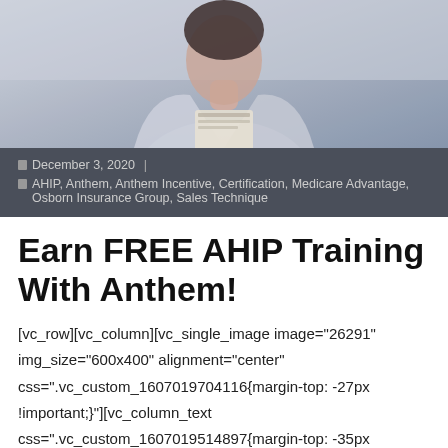[Figure (photo): A person in a light-colored jacket or coat holding papers or a folder, photographed from mid-torso up with a light background.]
December 3, 2020 | AHIP, Anthem, Anthem Incentive, Certification, Medicare Advantage, Osborn Insurance Group, Sales Technique
Earn FREE AHIP Training With Anthem!
[vc_row][vc_column][vc_single_image image="26291" img_size="600x400" alignment="center" css=".vc_custom_1607019704116{margin-top: -27px !important;}"][vc_column_text css=".vc_custom_1607019514897{margin-top: -35px !important;margin-right: 122px !important;margin-left: 122px